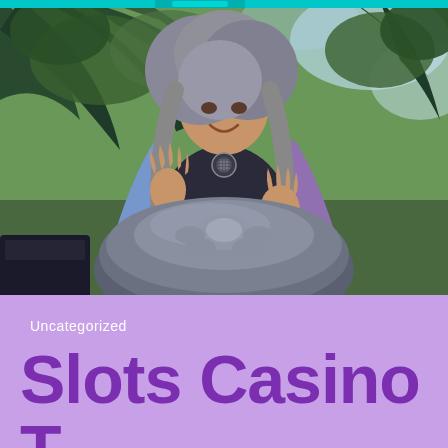[Figure (photo): Outdoor photo of a person with long gray hair playing a handpan drum, surrounded by trees and sky. Teal bar visible at the top.]
🏠 > Slots Casino Topgame - Online casinos 2020: the guide to safe online casinos
Uncategorized
Slots Casino Topgame